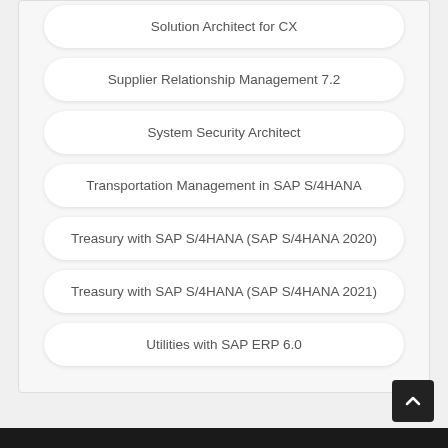Solution Architect for CX
Supplier Relationship Management 7.2
System Security Architect
Transportation Management in SAP S/4HANA
Treasury with SAP S/4HANA (SAP S/4HANA 2020)
Treasury with SAP S/4HANA (SAP S/4HANA 2021)
Utilities with SAP ERP 6.0